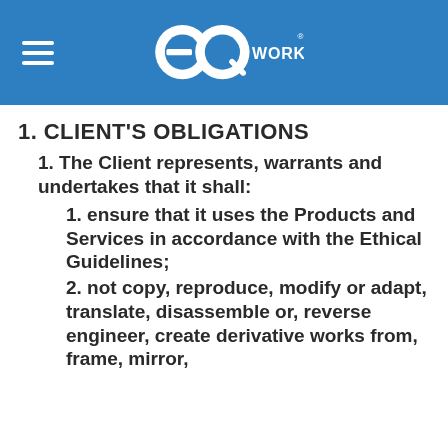EQ WORKS®
1. CLIENT'S OBLIGATIONS
1. The Client represents, warrants and undertakes that it shall:
1. ensure that it uses the Products and Services in accordance with the Ethical Guidelines;
2. not copy, reproduce, modify or adapt, translate, disassemble or, reverse engineer, create derivative works from, frame, mirror,